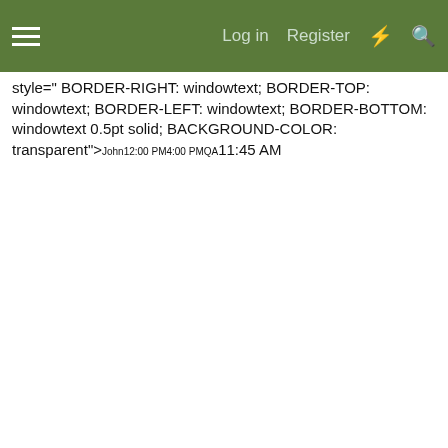Log in  Register
style="BORDER-RIGHT: windowtext; BORDER-TOP: windowtext; BORDER-LEFT: windowtext; BORDER-BOTTOM: windowtext 0.5pt solid; BACKGROUND-COLOR: transparent">John</TD><TD class=xl69 style="BORDER-RIGHT: windowtext 0.5pt solid; BORDER-TOP: windowtext; BORDER-LEFT: windowtext; BORDER-BOTTOM: windowtext 0.5pt solid; BACKGROUND-COLOR: transparent">12:00 PM</TD><TD class=xl69 style="BORDER-RIGHT: windowtext 0.5pt solid; BORDER-TOP: windowtext; BORDER-LEFT: windowtext; BORDER-BOTTOM: windowtext 0.5pt solid; BACKGROUND-COLOR: transparent">4:00 PM</TD><TD class=xl67 style="BORDER-RIGHT: windowtext 0.5pt solid; BORDER-TOP: windowtext; BORDER-LEFT: windowtext; BORDER-BOTTOM: windowtext 0.5pt solid; BACKGROUND-COLOR: transparent">QA</TD><TD class=xl70 style="BORDER-RIGHT: windowtext 0.5pt solid; BORDER-TOP: windowtext; BORDER-LEFT: windowtext; BORDER-BOTTOM: windowtext 0.5pt solid; BACKGROUND-COLOR: transparent" align=right>11:45 AM</TD><TD class=xl70 style="BORDER-RIGHT: windowtext 0.5pt solid; BORDER-TOP: windowtext; BORDER-LEFT: windowtext;